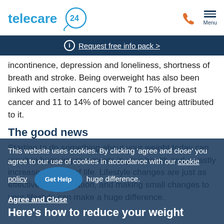[Figure (logo): Telecare 24 logo with phone and menu icons in header]
ⓘ Request free info pack >
incontinence, depression and loneliness, shortness of breath and stroke. Being overweight has also been linked with certain cancers with 7 to 15% of breast cancer and 11 to 14% of bowel cancer being attributed to it.
The good news
Starting to do something about your weight today can result in huge improvements in your health and a vastly increased quality of life. Lifestyle changes are just as effective as medication, and making small changes to your lifestyle can make a huge difference.
This website uses cookies. By clicking 'agree and close' you agree to our use of cookies in accordance with our cookie policy
Agree and Close
Here's how to reduce your weight